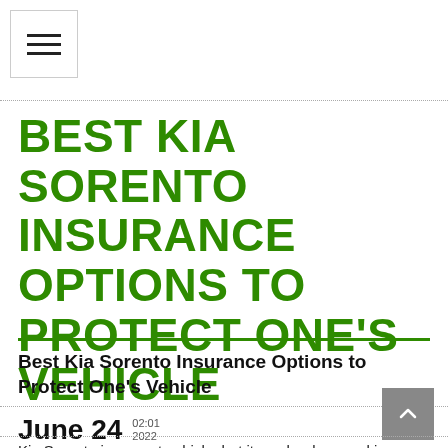[Figure (other): Hamburger menu button icon with three horizontal lines inside a bordered square]
BEST KIA SORENTO INSURANCE OPTIONS TO PROTECT ONE'S VEHICLE
Best Kia Sorento Insurance Options to Protect One's Vehicle
June 24  02:01  2022
Kia Sorento is a great vehicle, but it can be damaged in an accident